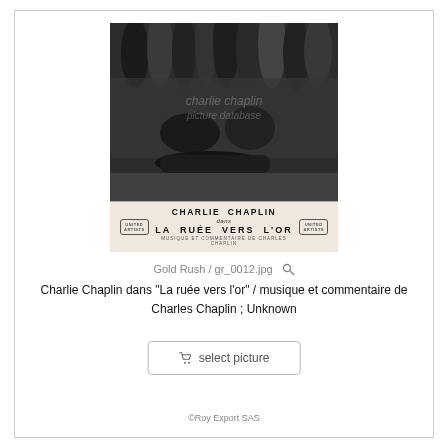[Figure (photo): Black and white still from Charlie Chaplin film 'The Gold Rush' (La Ruée vers l'or) showing a crowd scene with a person lying on the ground. Below the photo is a cream-colored caption bar with 'CHARLIE CHAPLIN dans LA RUÉE VERS L'OR' with United Artists logos on each side.]
Gold Rush / gr_0012.jpg
Charlie Chaplin dans "La ruée vers l'or" / musique et commentaire de Charles Chaplin ; Unknown
select picture
©Roy Export SAS